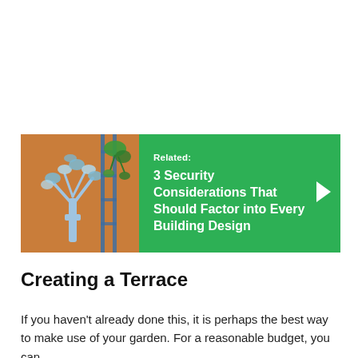[Figure (infographic): Related article box with a photo of a mural tree artwork and a blue fire escape staircase with green plants, on a green background. Text reads: Related: 3 Security Considerations That Should Factor into Every Building Design, with a right-pointing arrow.]
Creating a Terrace
If you haven't already done this, it is perhaps the best way to make use of your garden. For a reasonable budget, you can